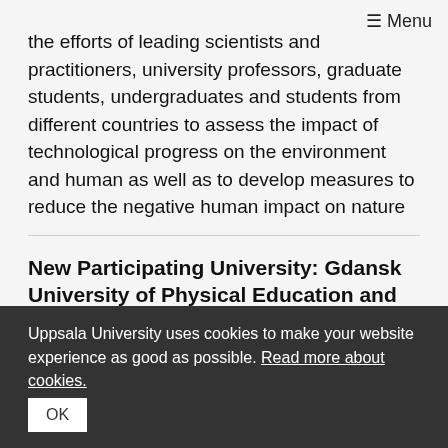☰ Menu
the efforts of leading scientists and practitioners, university professors, graduate students, undergraduates and students from different countries to assess the impact of technological progress on the environment and human as well as to develop measures to reduce the negative human impact on nature
New Participating University: Gdansk University of Physical Education and Sport
We have the pleasure of welcoming a new participating university amongst our colleagues: Gdansk University of Physical Education and Sport in Poland.
Uppsala University uses cookies to make your website experience as good as possible. Read more about cookies.